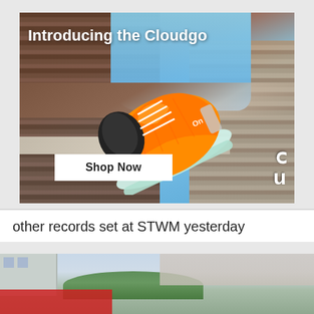[Figure (photo): Advertisement for On Running Cloudgo shoe. Orange running shoe floating/suspended against a building facade with corrugated metal siding and blue sky. White text 'Introducing the Cloudgo' at top left. White 'Shop Now' button at bottom center. On running logo (rotated 'n') at bottom right.]
other records set at STWM yesterday
[Figure (photo): Partial photo of a smiling male athlete at what appears to be a marathon finish area (STWM - Scotiabank Toronto Waterfront Marathon). City buildings visible in background along with crowds and green trees.]